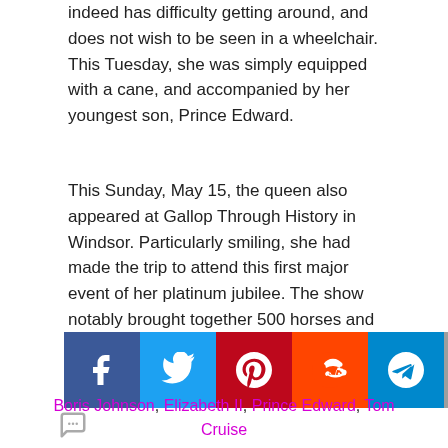indeed has difficulty getting around, and does not wish to be seen in a wheelchair. This Tuesday, she was simply equipped with a cane, and accompanied by her youngest son, Prince Edward.
This Sunday, May 15, the queen also appeared at Gallop Through History in Windsor. Particularly smiling, she had made the trip to attend this first major event of her platinum jubilee. The show notably brought together 500 horses and 1,300 artists including international stars such as Tom Cruise and Helen Mirren.
Elizabeth II © Agency
[Figure (infographic): Social media share buttons: Facebook (dark blue), Twitter (light blue), Pinterest (dark red), Reddit (orange), Telegram (blue), scroll-up (grey), WhatsApp (green)]
Boris Johnson, Elizabeth II, Prince Edward, Tom Cruise